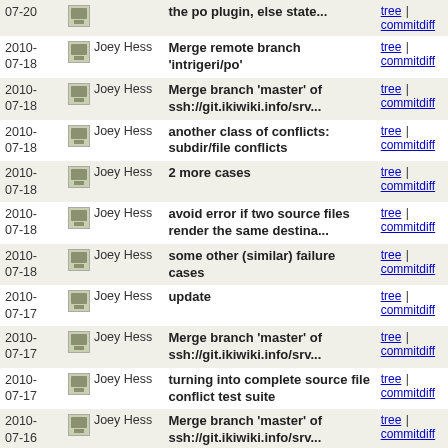| Date | Author | Message | Links |
| --- | --- | --- | --- |
| 2010-07-20 | Joey Hess | the po plugin, else state... | tree | commitdiff |
| 2010-07-18 | Joey Hess | Merge remote branch 'intrigeri/po' | tree | commitdiff |
| 2010-07-18 | Joey Hess | Merge branch 'master' of ssh://git.ikiwiki.info/srv... | tree | commitdiff |
| 2010-07-18 | Joey Hess | another class of conflicts: subdir/file conflicts | tree | commitdiff |
| 2010-07-18 | Joey Hess | 2 more cases | tree | commitdiff |
| 2010-07-18 | Joey Hess | avoid error if two source files render the same destina... | tree | commitdiff |
| 2010-07-18 | Joey Hess | some other (similar) failure cases | tree | commitdiff |
| 2010-07-17 | Joey Hess | update | tree | commitdiff |
| 2010-07-17 | Joey Hess | Merge branch 'master' of ssh://git.ikiwiki.info/srv... | tree | commitdiff |
| 2010-07-17 | Joey Hess | turning into complete source file conflict test suite | tree | commitdiff |
| 2010-07-16 | Joey Hess | Merge branch 'master' of ssh://git.ikiwiki.info/srv... | tree | commitdiff |
| 2010-07-16 | Joey Hess | add 2 failing test cases | tree | commitdiff |
| 2010-07-16 | Joey Hess | add test of file replace | tree | commitdiff |
| 2010-06-29 | intrigeri | Merge remote branch 'upstream/master' into prv/po | tree | commitdiff |